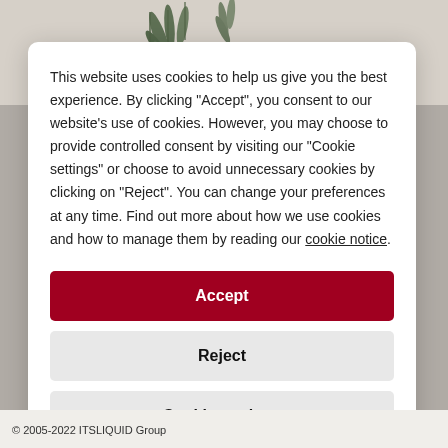[Figure (photo): Background photo of plant leaves on a light neutral wall with a blurred interior scene below]
This website uses cookies to help us give you the best experience. By clicking "Accept", you consent to our website's use of cookies. However, you may choose to provide controlled consent by visiting our "Cookie settings" or choose to avoid unnecessary cookies by clicking on "Reject". You can change your preferences at any time. Find out more about how we use cookies and how to manage them by reading our cookie notice.
Accept
Reject
Cookie settings
© 2005-2022 ITSLIQUID Group